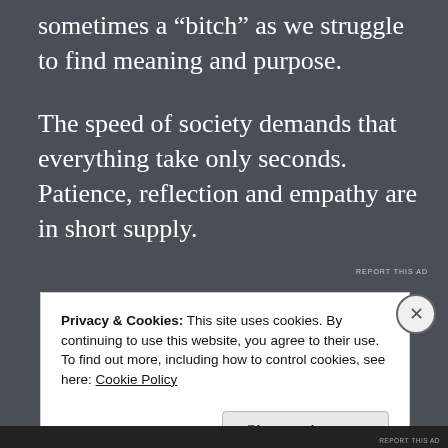sometimes a “bitch” as we struggle to find meaning and purpose.
The speed of society demands that everything take only seconds. Patience, reflection and empathy are in short supply.
REPORT THIS AD
Privacy & Cookies: This site uses cookies. By continuing to use this website, you agree to their use.
To find out more, including how to control cookies, see here: Cookie Policy
Close and accept